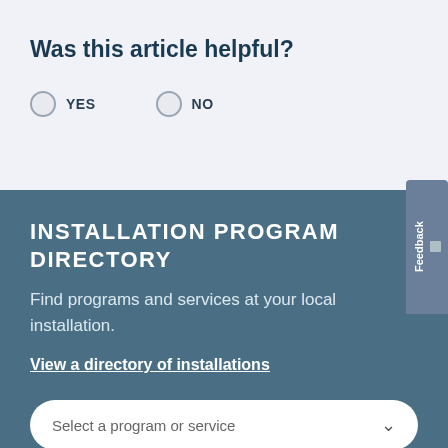Was this article helpful?
YES   NO
INSTALLATION PROGRAM DIRECTORY
Find programs and services at your local installation.
View a directory of installations
Select a program or service